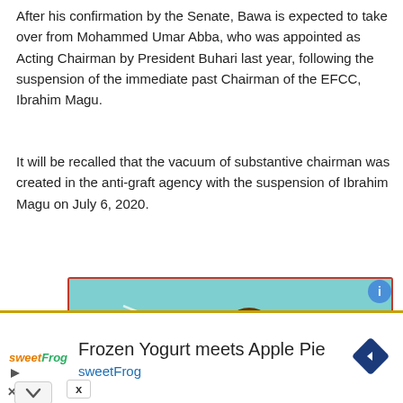After his confirmation by the Senate, Bawa is expected to take over from Mohammed Umar Abba, who was appointed as Acting Chairman by President Buhari last year, following the suspension of the immediate past Chairman of the EFCC, Ibrahim Magu.
It will be recalled that the vacuum of substantive chairman was created in the anti-graft agency with the suspension of Ibrahim Magu on July 6, 2020.
[Figure (photo): Advertisement image showing a man in an orange shirt with hands cupped around his mouth as if whispering or shouting, on a teal/cyan background, with a close button (X) and info button overlay.]
[Figure (infographic): Advertisement banner for sweetFrog frozen yogurt: sweetFrog logo on left, text 'Frozen Yogurt meets Apple Pie' and 'sweetFrog' in blue, navigation arrow icon on right in dark blue diamond shape.]